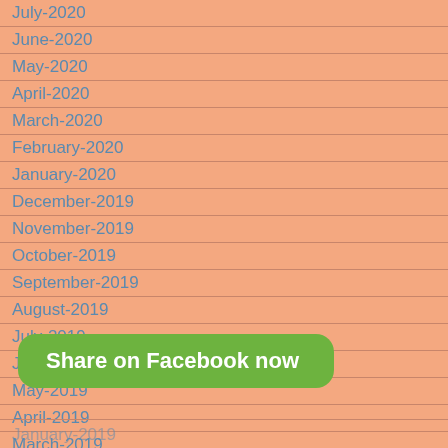July-2020
June-2020
May-2020
April-2020
March-2020
February-2020
January-2020
December-2019
November-2019
October-2019
September-2019
August-2019
July-2019
June-2019
May-2019
April-2019
March-2019
January-2019
Share on Facebook now